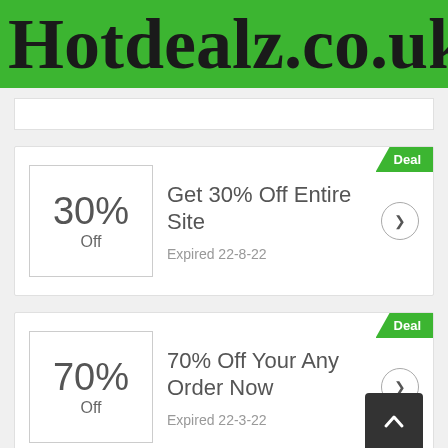Hotdealz.co.uk
Get 30% Off Entire Site — Expired 22-8-22
70% Off Your Any Order Now — Expired 22-3-22